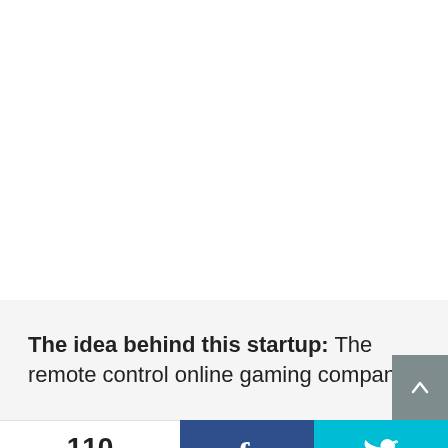The idea behind this startup: The remote control online gaming company.
110 SHARES | Facebook share | Twitter share